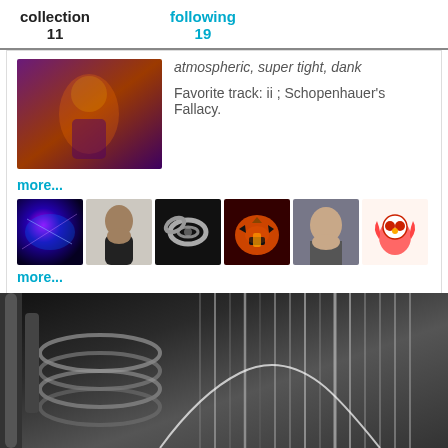collection 11
following 19
atmospheric, super tight, dank
Favorite track: ii ; Schopenhauer's Fallacy.
more...
[Figure (photo): Grid of six follower/user avatar photos including an abstract blue nebula, a man's profile, a chain link, a jack-o-lantern, a bald man, and a cartoon owl figure]
more...
[Figure (photo): Black and white close-up photo of industrial metal coils, pipes and corrugated metal surfaces]